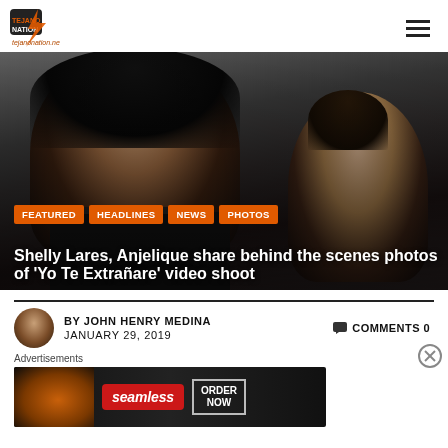tejanonation.net
[Figure (photo): Hero image showing two women singers, one with long black hair in front, another in background, with orange category tags and headline overlaid]
Shelly Lares, Anjelique share behind the scenes photos of ‘Yo Te Extrañare’ video shoot
BY JOHN HENRY MEDINA   COMMENTS 0
JANUARY 29, 2019
[Figure (photo): Seamless food delivery advertisement banner with pizza image and ORDER NOW button]